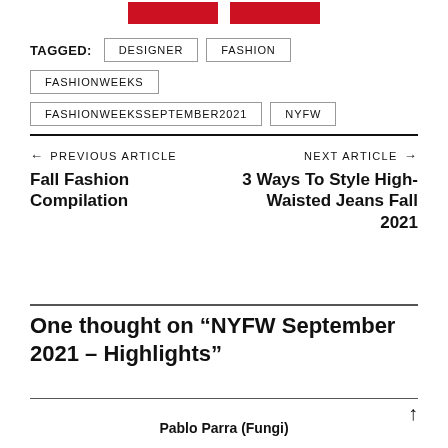[Figure (logo): Two red rectangular logo blocks at the top center]
TAGGED: DESIGNER FASHION FASHIONWEEKS FASHIONWEEKSSEPTEMBER2021 NYFW
← PREVIOUS ARTICLE Fall Fashion Compilation
NEXT ARTICLE → 3 Ways To Style High-Waisted Jeans Fall 2021
One thought on “NYFW September 2021 – Highlights”
Pablo Parra (Fungi)